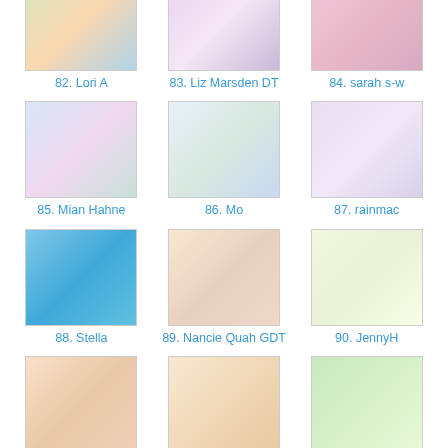[Figure (photo): Craft card image 82 - Lori A]
82. Lori A
[Figure (photo): Craft card image 83 - Liz Marsden DT]
83. Liz Marsden DT
[Figure (photo): Craft card image 84 - sarah s-w]
84. sarah s-w
[Figure (photo): Craft card image 85 - Mian Hahne]
85. Mian Hahne
[Figure (photo): Craft card image 86 - Mo]
86. Mo
[Figure (photo): Craft card image 87 - rainmac]
87. rainmac
[Figure (photo): Craft card image 88 - Stella]
88. Stella
[Figure (photo): Craft card image 89 - Nancie Quah GDT]
89. Nancie Quah GDT
[Figure (photo): Craft card image 90 - JennyH]
90. JennyH
[Figure (photo): Craft card image 91 - Sabine]
91. Sabine
[Figure (photo): Craft card image 92 - carol gill]
92. carol gill
[Figure (photo): Craft card image 93 - Annette]
93. Annette